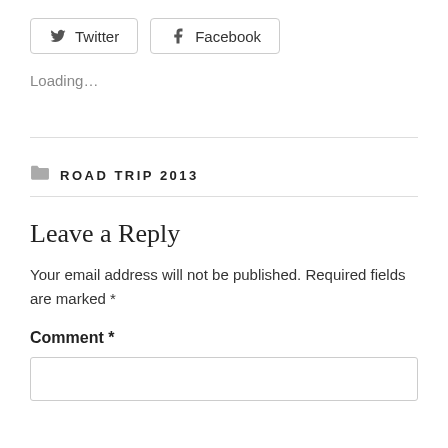[Figure (other): Twitter and Facebook social share buttons]
Loading...
ROAD TRIP 2013
Leave a Reply
Your email address will not be published. Required fields are marked *
Comment *